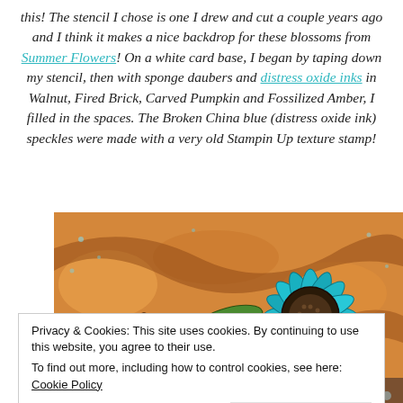this!  The stencil I chose is one I drew and cut a couple years ago and I think it makes a nice backdrop for these blossoms from Summer Flowers!  On a white card base, I began by taping down my stencil, then with sponge daubers and distress oxide inks in Walnut, Fired Brick, Carved Pumpkin and Fossilized Amber, I filled in the spaces.  The Broken China blue (distress oxide ink) speckles were made with a very old Stampin Up texture stamp!
[Figure (photo): Close-up photo of handmade paper flowers: a teal/blue sunflower-like flower in the center-right, and orange/brown flowers with dark outlines on the left, on a patterned background with warm earth tones.]
Privacy & Cookies: This site uses cookies. By continuing to use this website, you agree to their use.
To find out more, including how to control cookies, see here: Cookie Policy
[Figure (photo): Bottom partial photo showing a brown surface with teal/blue speckled elements.]